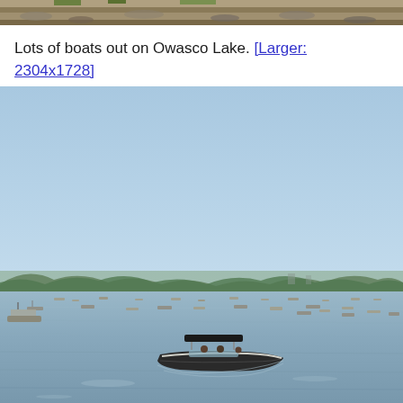[Figure (photo): Partial top strip of a rocky shoreline photograph, cropped at the top of the page]
Lots of boats out on Owasco Lake. [Larger: 2304x1728]
[Figure (photo): Photo of Owasco Lake with many boats on the water under a hazy blue sky, treeline visible on far shore, a motorboat with bimini top in the foreground center]